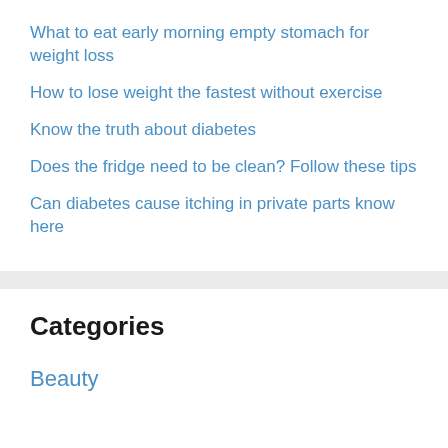What to eat early morning empty stomach for weight loss
How to lose weight the fastest without exercise
Know the truth about diabetes
Does the fridge need to be clean? Follow these tips
Can diabetes cause itching in private parts know here
Categories
Beauty